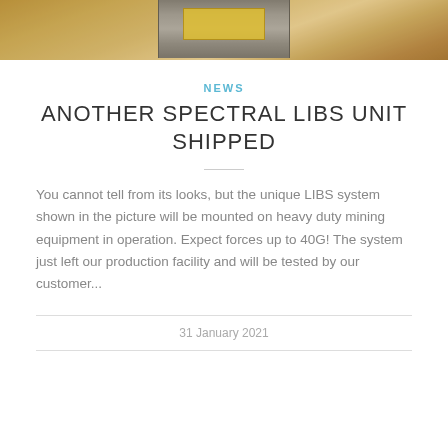[Figure (photo): Photo of a Spectral LIBS unit/device mounted on a wooden surface, showing a metal enclosure with a yellow laser warning label]
NEWS
ANOTHER SPECTRAL LIBS UNIT SHIPPED
You cannot tell from its looks, but the unique LIBS system shown in the picture will be mounted on heavy duty mining equipment in operation. Expect forces up to 40G! The system just left our production facility and will be tested by our customer...
31 January 2021